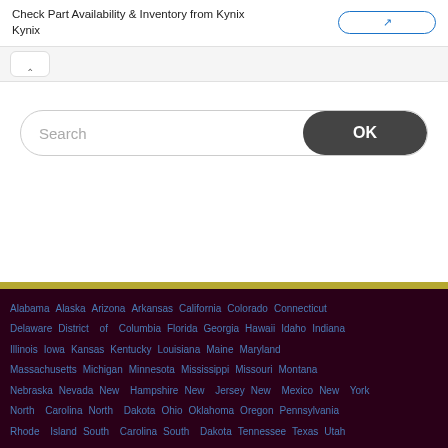Check Part Availability & Inventory from Kynix Kynix
[Figure (screenshot): Collapse/expand button with up arrow caret]
[Figure (screenshot): Search bar with placeholder text 'Search' and OK button]
Alabama  Alaska  Arizona  Arkansas  California  Colorado  Connecticut  Delaware  District of Columbia  Florida  Georgia  Hawaii  Idaho  Indiana  Illinois  Iowa  Kansas  Kentucky  Louisiana  Maine  Maryland  Massachusetts  Michigan  Minnesota  Mississippi  Missouri  Montana  Nebraska  Nevada  New Hampshire  New Jersey  New Mexico  New York  North Carolina  North Dakota  Ohio  Oklahoma  Oregon  Pennsylvania  Rhode Island  South Carolina  South Dakota  Tennessee  Texas  Utah